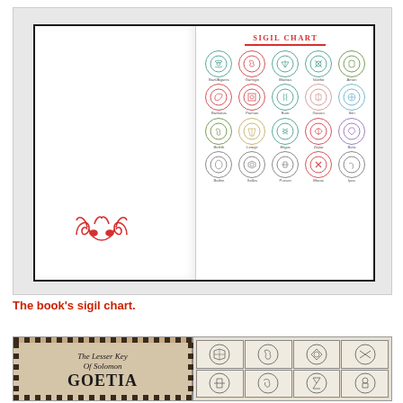[Figure (photo): Open hardcover book showing a sigil chart page on the right with colorful circular demon sigils arranged in a 5x4 grid, and a decorative demon face symbol on the left page.]
The book's sigil chart.
[Figure (photo): Two-part image: left shows a vintage title page reading 'The Lesser Key Of Solomon GOETIA' with checkered border; right shows a grid of ancient circular sigil illustrations.]